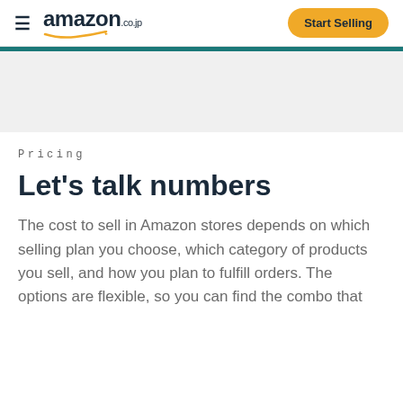amazon.co.jp | Start Selling
Pricing
Let's talk numbers
The cost to sell in Amazon stores depends on which selling plan you choose, which category of products you sell, and how you plan to fulfill orders. The options are flexible, so you can find the combo that